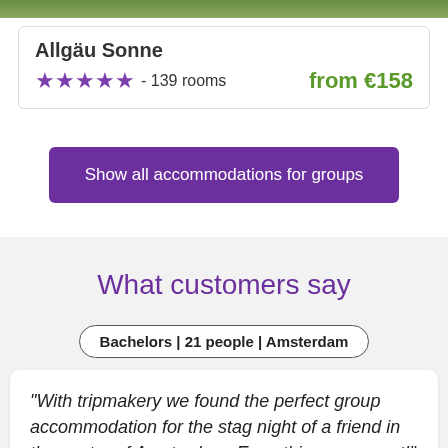[Figure (photo): Green nature/landscape photo strip at the top of the page]
Allgäu Sonne
★★★★★ - 139 rooms
from €158
Show all accommodations for groups
What customers say
Bachelors | 21 people | Amsterdam
"With tripmakery we found the perfect group accommodation for the stag night of a friend in the centre of Amsterdam. Everything was great!"